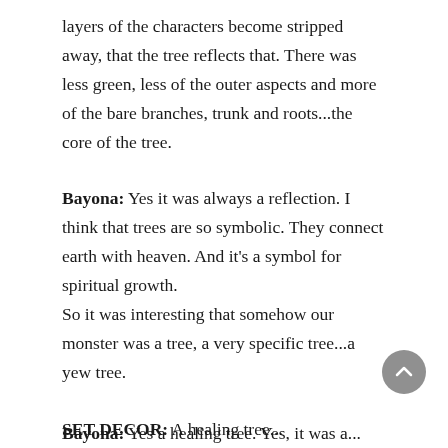layers of the characters become stripped away, that the tree reflects that. There was less green, less of the outer aspects and more of the bare branches, trunk and roots...the core of the tree.
Bayona: Yes it was always a reflection. I think that trees are so symbolic. They connect earth with heaven. And it’s a symbol for spiritual growth.
So it was interesting that somehow our monster was a tree, a very specific tree...a yew tree.
SET DECOR: A healing tree...
Bayona: Yes a healing tree. Yes, it was a...